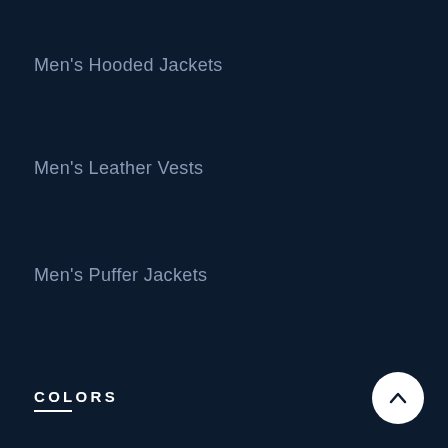Men's Hooded Jackets
Men's Leather Vests
Men's Puffer Jackets
COLORS
Men's Black Jackets
Men's Red Jackets
Men's Green Jackets
Men's Blue Jackets
Men's Maroon Jackets